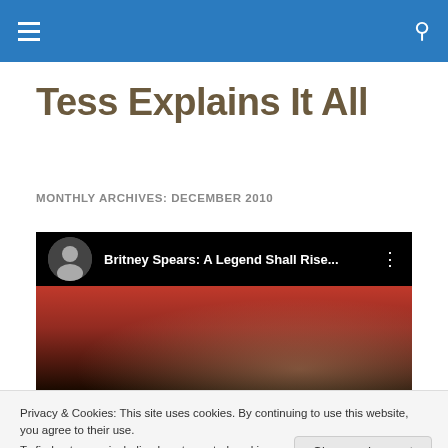Navigation bar with hamburger menu and search icon
Tess Explains It All
MONTHLY ARCHIVES: DECEMBER 2010
[Figure (screenshot): YouTube video thumbnail showing 'Britney Spears: A Legend Shall Rise...' with a circular avatar, dark background, and red/orange stage imagery below]
Privacy & Cookies: This site uses cookies. By continuing to use this website, you agree to their use.
To find out more, including how to control cookies, see here: Cookie Policy
Close and accept